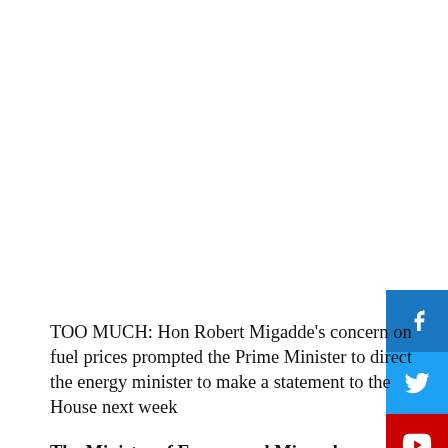[Figure (other): Social media share buttons: Facebook (blue), Twitter (blue), YouTube (red), Instagram (dark blue/purple)]
TOO MUCH: Hon Robert Migadde’s concern on fuel prices prompted the Prime Minister to direct the energy minister to make a statement to the House next week
The Minister of Energy and Mineral Development has been directed to present a detailed report on the spiraling fuel prices in the country.
According to the Prime Minister Robinah Nabbanja, much as the country has fuel reserves, the increase in fuel prices is a global phenomenon, which has also troubled many Ugandans especially in trade.